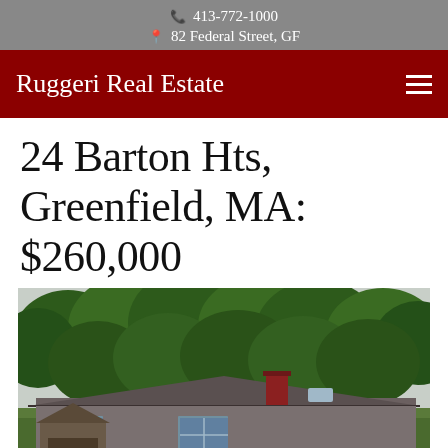413-772-1000  82 Federal Street, GF
Ruggeri Real Estate
24 Barton Hts, Greenfield, MA: $260,000
[Figure (photo): Exterior photo of a low ranch-style house with a brown shingled roof and brick chimney, surrounded by dense green trees and overcast sky.]